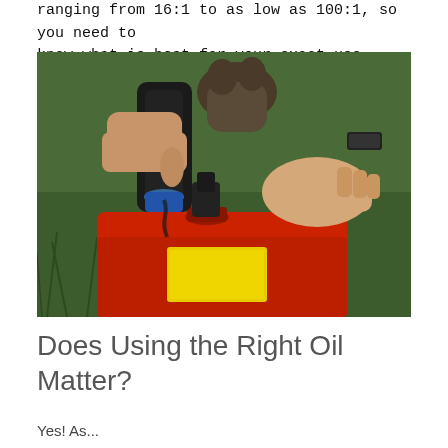ranging from 16:1 to as low as 100:1, so you need to know what is best for your exact use.
[Figure (photo): Person pouring oil from a dark bottle into a red fuel container, outdoors on grass.]
Does Using the Right Oil Matter?
Yes! As...